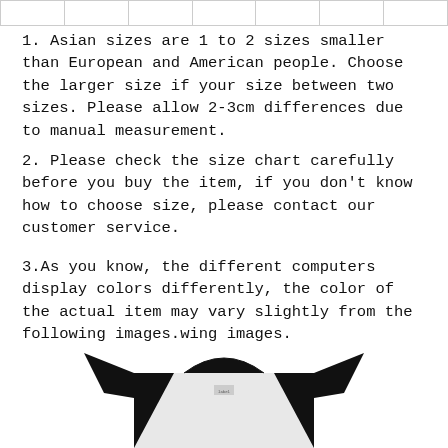|   |   |   |   |   |   |   |
1. Asian sizes are 1 to 2 sizes smaller than European and American people. Choose the larger size if your size between two sizes. Please allow 2-3cm differences due to manual measurement.
2. Please check the size chart carefully before you buy the item, if you don't know how to choose size, please contact our customer service.
3.As you know, the different computers display colors differently, the color of the actual item may vary slightly from the following images.wing images.
[Figure (photo): A black and white t-shirt displayed from the front, partially cropped at the bottom of the page.]